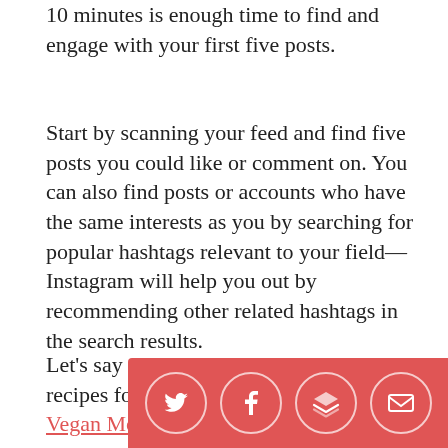10 minutes is enough time to find and engage with your first five posts.
Start by scanning your feed and find five posts you could like or comment on. You can also find posts or accounts who have the same interests as you by searching for popular hashtags relevant to your field—Instagram will help you out by recommending other related hashtags in the search results.
Let's say you run a blog sharing vegan recipes for busy parents, like Megan the Vegan Mom. You might start by searchi...
[Figure (other): Social share bar with Twitter, Facebook, Buffer/layers, and email icons on a red/salmon background]